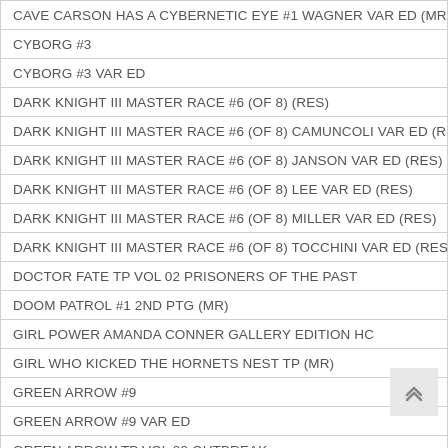| CAVE CARSON HAS A CYBERNETIC EYE #1 WAGNER VAR ED (MR) |
| CYBORG #3 |
| CYBORG #3 VAR ED |
| DARK KNIGHT III MASTER RACE #6 (OF 8) (RES) |
| DARK KNIGHT III MASTER RACE #6 (OF 8) CAMUNCOLI VAR ED (RE... |
| DARK KNIGHT III MASTER RACE #6 (OF 8) JANSON VAR ED (RES) |
| DARK KNIGHT III MASTER RACE #6 (OF 8) LEE VAR ED (RES) |
| DARK KNIGHT III MASTER RACE #6 (OF 8) MILLER VAR ED (RES) |
| DARK KNIGHT III MASTER RACE #6 (OF 8) TOCCHINI VAR ED (RES... |
| DOCTOR FATE TP VOL 02 PRISONERS OF THE PAST |
| DOOM PATROL #1 2ND PTG (MR) |
| GIRL POWER AMANDA CONNER GALLERY EDITION HC |
| GIRL WHO KICKED THE HORNETS NEST TP (MR) |
| GREEN ARROW #9 |
| GREEN ARROW #9 VAR ED |
| GREEN ARROW TP VOL 09 OUTBREAK |
| GREEN LANTERNS #9 |
| GREEN LANTERNS #9 VAR ED |